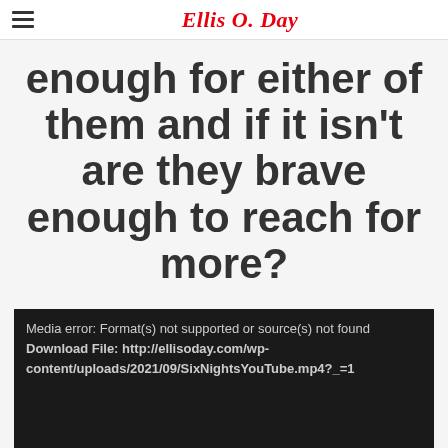Ellis O. Day
enough for either of them and if it isn't are they brave enough to reach for more?
[Figure (screenshot): Video player error message on dark background. Text reads: 'Media error: Format(s) not supported or source(s) not found' and 'Download File: http://ellisoday.com/wp-content/uploads/2021/09/SixNightsYouTube.mp4?_=1']